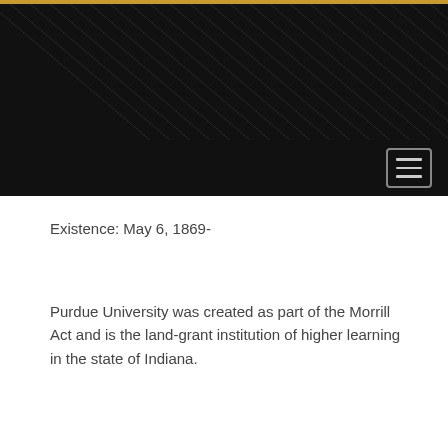[Figure (other): Dark header banner with diagonal line texture pattern and a gold top border strip]
[Figure (other): Hamburger menu button (three horizontal lines) in a bordered box on dark navigation bar]
Existence: May 6, 1869-
Purdue University was created as part of the Morrill Act and is the land-grant institution of higher learning in the state of Indiana.